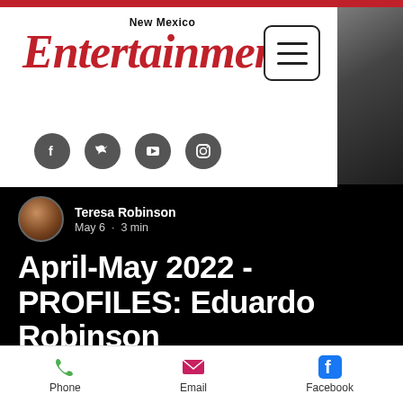New Mexico Entertainment
[Figure (photo): Dark background photo of a person in formal attire]
Teresa Robinson
May 6 · 3 min
April-May 2022 - PROFILES: Eduardo Robinson
The moment comes when you have to decide if your dreams are worth exploring. New Mexico
Phone   Email   Facebook